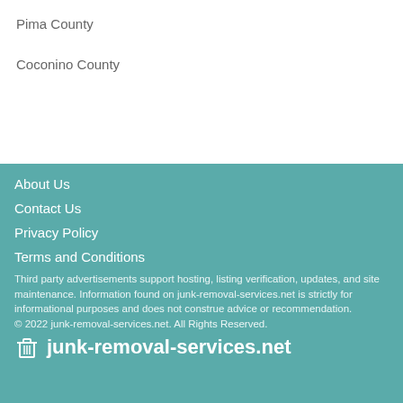Pima County
Coconino County
About Us
Contact Us
Privacy Policy
Terms and Conditions
Third party advertisements support hosting, listing verification, updates, and site maintenance. Information found on junk-removal-services.net is strictly for informational purposes and does not construe advice or recommendation.
© 2022 junk-removal-services.net. All Rights Reserved.
junk-removal-services.net